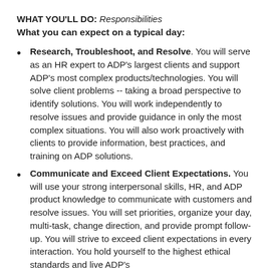WHAT YOU'LL DO: Responsibilities
What you can expect on a typical day:
Research, Troubleshoot, and Resolve. You will serve as an HR expert to ADP's largest clients and support ADP's most complex products/technologies. You will solve client problems -- taking a broad perspective to identify solutions. You will work independently to resolve issues and provide guidance in only the most complex situations. You will also work proactively with clients to provide information, best practices, and training on ADP solutions.
Communicate and Exceed Client Expectations. You will use your strong interpersonal skills, HR, and ADP product knowledge to communicate with customers and resolve issues. You will set priorities, organize your day, multi-task, change direction, and provide prompt follow-up. You will strive to exceed client expectations in every interaction. You hold yourself to the highest ethical standards and live ADP's